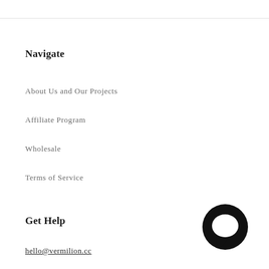Navigate
About Us and Our Projects
Affiliate Program
Wholesale
Terms of Service
Get Help
hello@vermilion.cc
[Figure (logo): Black circular chat bubble icon in the bottom-right corner]